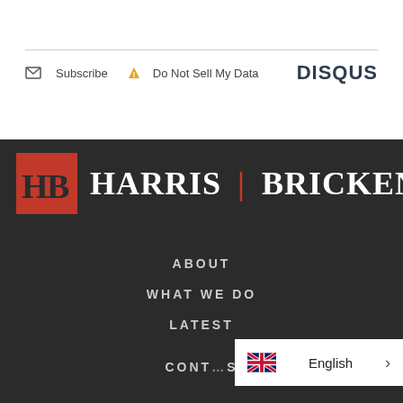Subscribe  Do Not Sell My Data    DISQUS
[Figure (logo): Harris Bricken law firm logo: orange/red square with HB letters followed by HARRIS | BRICKEN text in white on dark background]
ABOUT
WHAT WE DO
LATEST
CONT...S
English >